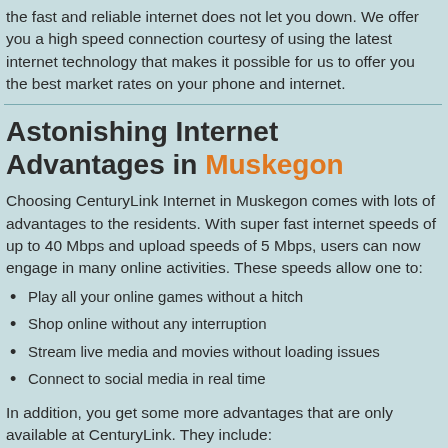the fast and reliable internet does not let you down. We offer you a high speed connection courtesy of using the latest internet technology that makes it possible for us to offer you the best market rates on your phone and internet.
Astonishing Internet Advantages in Muskegon
Choosing CenturyLink Internet in Muskegon comes with lots of advantages to the residents. With super fast internet speeds of up to 40 Mbps and upload speeds of 5 Mbps, users can now engage in many online activities. These speeds allow one to:
Play all your online games without a hitch
Shop online without any interruption
Stream live media and movies without loading issues
Connect to social media in real time
In addition, you get some more advantages that are only available at CenturyLink. They include: